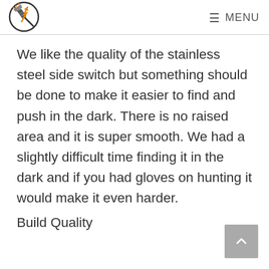MENU
We like the quality of the stainless steel side switch but something should be done to make it easier to find and push in the dark. There is no raised area and it is super smooth. We had a slightly difficult time finding it in the dark and if you had gloves on hunting it would make it even harder.
Build Quality